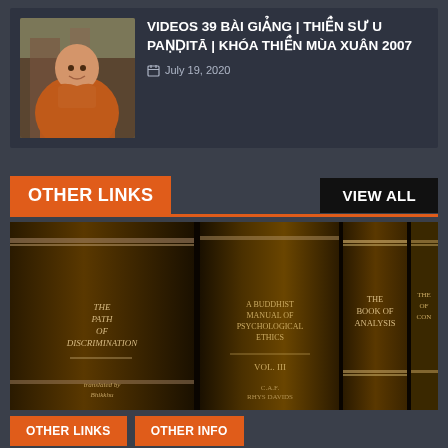[Figure (photo): Buddhist monk in orange robe standing outside]
VIDEOS 39 BÀI GIẢNG | THIỀN SƯ U PAṆḌITĀ | KHÓA THIỀN MÙA XUÂN 2007
July 19, 2020
OTHER LINKS
VIEW ALL
[Figure (photo): Row of old Buddhist texts/books on a shelf including 'The Path of Discrimination', 'A Buddhist Manual of Psychological Ethics', 'The Book of Analysis', and other volumes]
OTHER LINKS
OTHER INFO